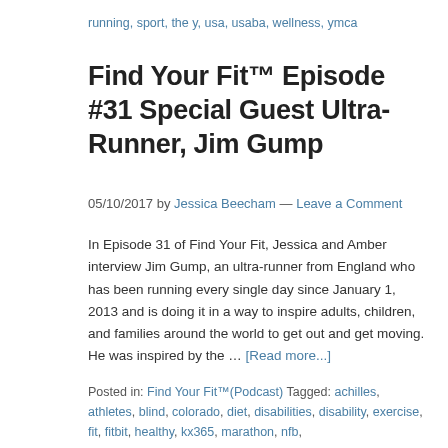running, sport, the y, usa, usaba, wellness, ymca
Find Your Fit™ Episode #31 Special Guest Ultra-Runner, Jim Gump
05/10/2017 by Jessica Beecham — Leave a Comment
In Episode 31 of Find Your Fit, Jessica and Amber interview Jim Gump, an ultra-runner from England who has been running every single day since January 1, 2013 and is doing it in a way to inspire adults, children, and families around the world to get out and get moving. He was inspired by the … [Read more...]
Posted in: Find Your Fit™(Podcast) Tagged: achilles, athletes, blind, colorado, diet, disabilities, disability, exercise, fit, fitbit, healthy, kx365, marathon, nfb,